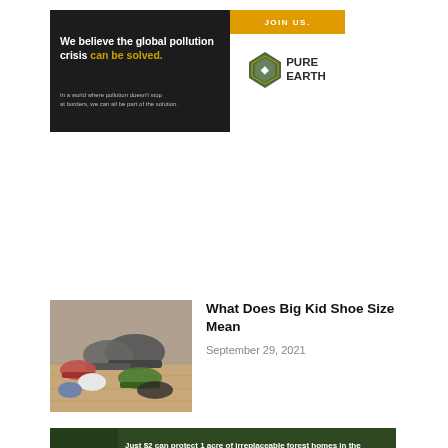[Figure (infographic): Pure Earth banner ad with dark left panel reading 'We believe the global pollution crisis can be solved.' in white/yellow text, and right panel with orange JOIN US bar and Pure Earth diamond logo with company name.]
[Figure (photo): Multiple pairs of children's shoes and sneakers scattered on a wooden floor, including gray sneakers, pink shoes, green shoes, and socks.]
What Does Big Kid Shoe Size Mean
September 29, 2021
[Figure (infographic): Forest conservation banner ad with dark green background and forest animal photo on left. Text reads: 'Just $2 can protect 1 acre of irreplaceable forest homes in the Amazon. How many acres are you willing to protect?' with a green PROTECT FORESTS NOW button.]